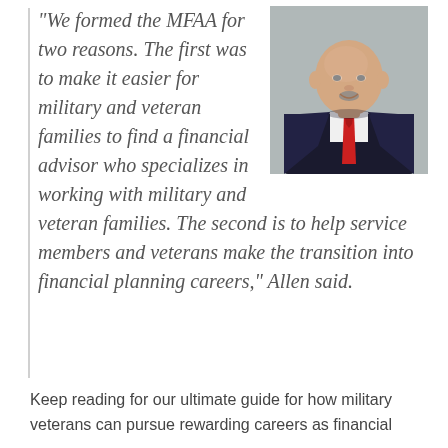“We formed the MFAA for two reasons. The first was to make it easier for military and veteran families to find a financial advisor who specializes in working with military and veteran families. The second is to help service members and veterans make the transition into financial planning careers,” Allen said.
[Figure (photo): Professional headshot of a bald middle-aged man wearing a dark suit with a red tie, smiling against a gray background.]
Keep reading for our ultimate guide for how military veterans can pursue rewarding careers as financial